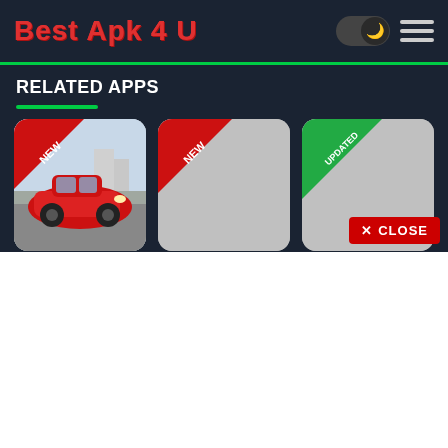Best Apk 4 U
RELATED APPS
[Figure (screenshot): App card for Ultimate Car Drivin... with a red NEW badge corner ribbon, showing a red sports car]
Ultimate Car Drivin...
[Figure (screenshot): App card for GTA 5 APK- Grand ... with a red NEW badge corner ribbon, gray placeholder image]
GTA 5 APK- Grand ...
[Figure (screenshot): App card for Bus Simulator Indon... with a green UPDATED badge corner ribbon, gray placeholder image]
Bus Simulator Indon...
Maleo
✕ CLOSE